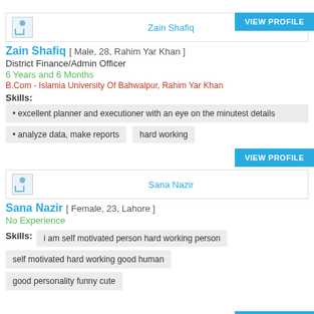[Figure (other): VIEW PROFILE button at top right]
[Figure (other): Profile card with image placeholder and name Zain Shafiq]
Zain Shafiq [ Male, 28, Rahim Yar Khan ]
District Finance/Admin Officer
6 Years and 6 Months
B.Com - Islamia University Of Bahwalpur, Rahim Yar Khan
Skills:
excellent planner and executioner with an eye on the minutest details
analyze data, make reports
hard working
[Figure (other): VIEW PROFILE button]
[Figure (other): Profile card with image placeholder and name Sana Nazir]
Sana Nazir [ Female, 23, Lahore ]
No Experience
Skills:   i am self motivated person hard working person
self motivated hard working good human
good personality funny cute